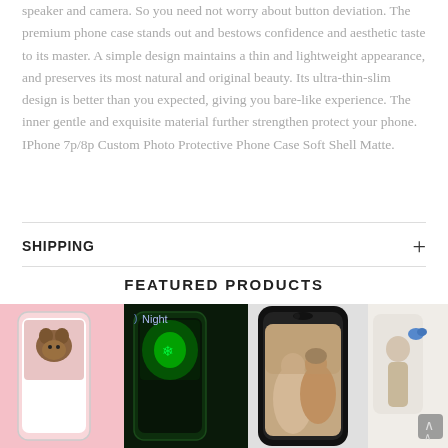speaker and camera. So you need not worry about button deviation. The premium phone case stands out and bestows confidence and aesthetic taste to its master. A simple design maintains a thin and lightweight appearance, and preserves its most natural and original beauty. Its ultra-thin-slim design is better than you expected, giving you bare-like experience. The inner gentle and exquisite material further strengthen protect your phone. IPhone 7p/8p Custom Photo Protective Phone Case Soft Shell Matte.
SHIPPING
FEATURED PRODUCTS
[Figure (photo): Two phone cases shown side by side: left shows a day mode with a puppy photo case (pink/white phone), right shows a night glow mode with the same case glowing green in the dark. Labels 'Day' and 'Night' visible.]
[Figure (photo): Black iPhone X with a custom photo case showing a romantic couple photo. Partial view of another phone case on the far right.]